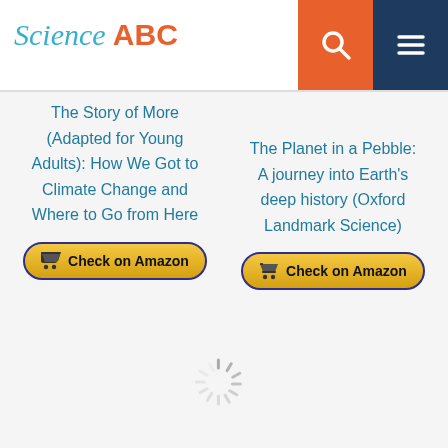Science ABC
The Story of More (Adapted for Young Adults): How We Got to Climate Change and Where to Go from Here
The Planet in a Pebble: A journey into Earth's deep history (Oxford Landmark Science)
Check on Amazon
Check on Amazon
[Figure (other): Loading spinner animation]